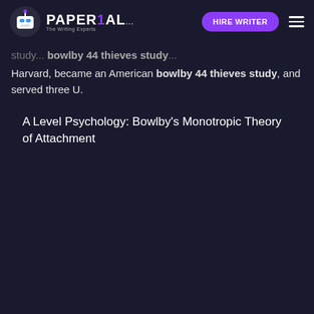PAPER1AL — HIRE WRITER
study ... bowlby 44 thieves study ... Harvard, became an American bowlby 44 thieves study, and served three U.
A Level Psychology: Bowlby's Monotropic Theory of Attachment
[Figure (screenshot): YouTube video thumbnail for 'A Level Psychology: Bowlby's Monotropic Theory' by atomi channel, showing large bold text 'Bowlby's Monotropic Theory of Attachment' on a mint/teal background with decorative geometric shapes and a play button overlay. Bottom bar shows 'Watch on YouTube'.]